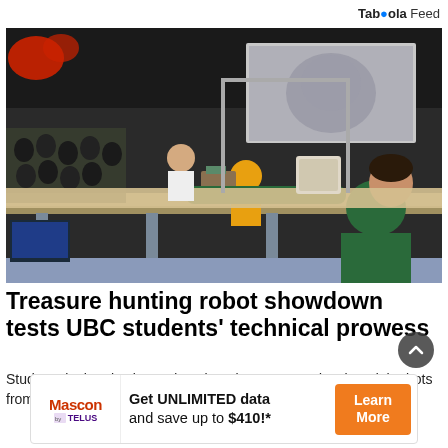Taboola Feed
[Figure (photo): Students at a robotics competition at UBC. A person in a green shirt leans over a table where a small robot is navigating. An audience watches from tiered seating. A large projection screen is visible in the background.]
Treasure hunting robot showdown tests UBC students' technical prowess
Students in the physics and engineering program developed the bots from scratchStudents in the physics and engineeri...
[Figure (infographic): Advertisement: Mascon by TELUS logo on left, center text reads 'Get UNLIMITED data and save up to $410!*', orange 'Learn More' button on right.]